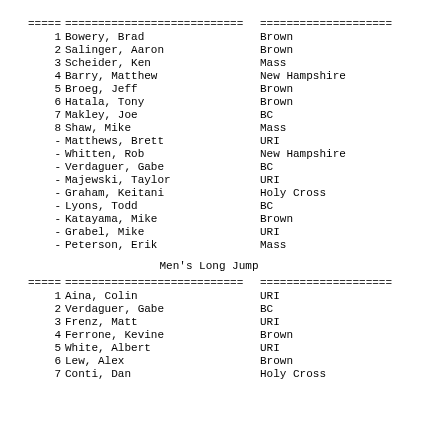| Rank | Name | School |
| --- | --- | --- |
| ===== | =========================== | ==================== |
| 1 | Bowery, Brad | Brown |
| 2 | Salinger, Aaron | Brown |
| 3 | Scheider, Ken | Mass |
| 4 | Barry, Matthew | New Hampshire |
| 5 | Broeg, Jeff | Brown |
| 6 | Hatala, Tony | Brown |
| 7 | Makley, Joe | BC |
| 8 | Shaw, Mike | Mass |
| - | Matthews, Brett | URI |
| - | Whitten, Rob | New Hampshire |
| - | Verdaguer, Gabe | BC |
| - | Majewski, Taylor | URI |
| - | Graham, Keitani | Holy Cross |
| - | Lyons, Todd | BC |
| - | Katayama, Mike | Brown |
| - | Grabel, Mike | URI |
| - | Peterson, Erik | Mass |
Men's Long Jump
| Rank | Name | School |
| --- | --- | --- |
| ===== | =========================== | ==================== |
| 1 | Aina, Colin | URI |
| 2 | Verdaguer, Gabe | BC |
| 3 | Frenz, Matt | URI |
| 4 | Ferrone, Kevine | Brown |
| 5 | White, Albert | URI |
| 6 | Lew, Alex | Brown |
| 7 | Conti, Dan | Holy Cross |